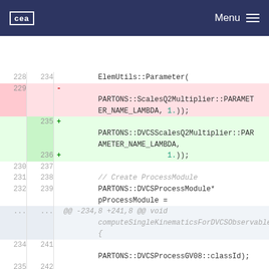CEA  Menu
[Figure (screenshot): Code diff view showing changes to PARTONS source code. Removed lines (pink) show ScalesQ2Multiplier::PARAMETER_NAME_LAMBDA and added lines (green) show DVCSScalesQ2Multiplier::PARAMETER_NAME_LAMBDA. Context lines show creation of ProcessModule and Observable objects, with a hunk header @@ -234,8 +241,8 @@ void computeSingleKinematicsForDVCSObservable.]